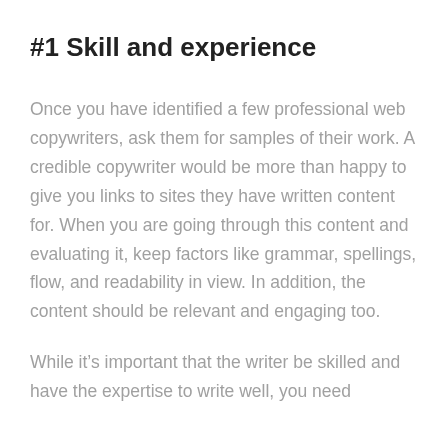#1 Skill and experience
Once you have identified a few professional web copywriters, ask them for samples of their work. A credible copywriter would be more than happy to give you links to sites they have written content for. When you are going through this content and evaluating it, keep factors like grammar, spellings, flow, and readability in view. In addition, the content should be relevant and engaging too.
While it’s important that the writer be skilled and have the expertise to write well, you need